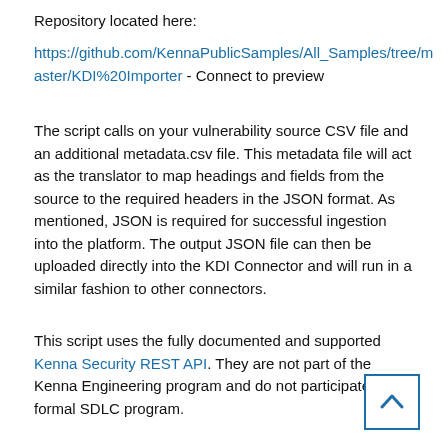Repository located here:
https://github.com/KennaPublicSamples/All_Samples/tree/master/KDI%20Importer - Connect to preview
The script calls on your vulnerability source CSV file and an additional metadata.csv file. This metadata file will act as the translator to map headings and fields from the source to the required headers in the JSON format. As mentioned, JSON is required for successful ingestion into the platform. The output JSON file can then be uploaded directly into the KDI Connector and will run in a similar fashion to other connectors.
This script uses the fully documented and supported Kenna Security REST API. They are not part of the Kenna Engineering program and do not participate in a formal SDLC program.